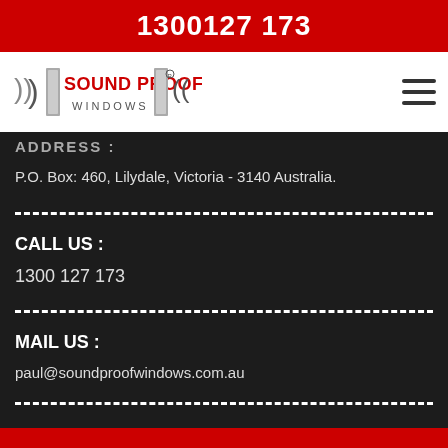1300127 173
[Figure (logo): Sound Proof Windows logo with speaker wave icons on either side of text]
ADDRESS :
P.O. Box: 460, Lilydale, Victoria - 3140 Australia.
CALL US :
1300 127 173
MAIL US :
paul@soundproofwindows.com.au